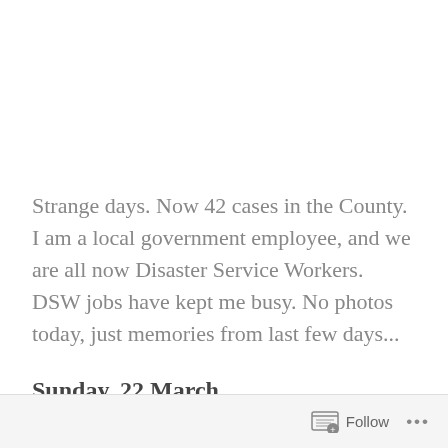Strange days. Now 42 cases in the County. I am a local government employee, and we are all now Disaster Service Workers. DSW jobs have kept me busy. No photos today, just memories from last few days...
Sunday, 22 March
Follow ...